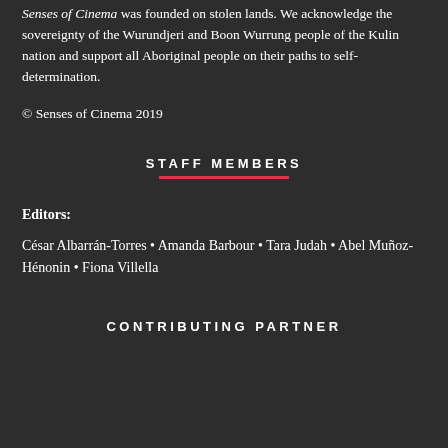Senses of Cinema was founded on stolen lands. We acknowledge the sovereignty of the Wurundjeri and Boon Wurrung people of the Kulin nation and support all Aboriginal people on their paths to self-determination.
© Senses of Cinema 2019
STAFF MEMBERS
Editors:
César Albarrán-Torres • Amanda Barbour • Tara Judah • Abel Muñoz-Hénonin • Fiona Villella
CONTRIBUTING PARTNER